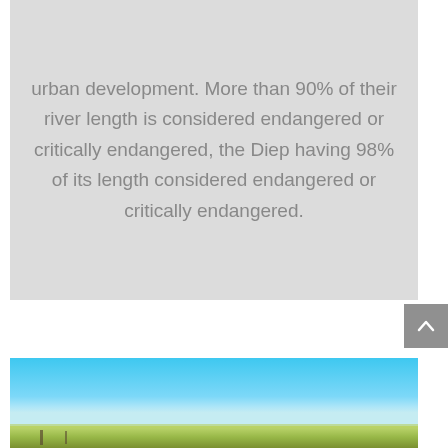urban development. More than 90% of their river length is considered endangered or critically endangered, the Diep having 98% of its length considered endangered or critically endangered.
[Figure (photo): Outdoor landscape photograph showing a flat rural/agricultural area under a bright blue sky with open fields near the horizon.]